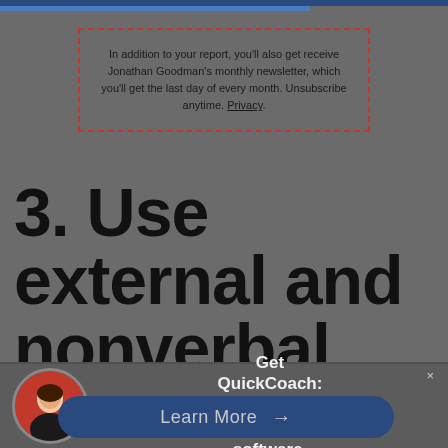In addition to your report, you'll also get receive Jonathan Goodman's monthly newsletter, which you'll get the last day of every month. Unsubscribe anytime. Privacy
3. Use external and nonverbal cues
Get QuickCoach: 100% Free coaching software.
Learn More →